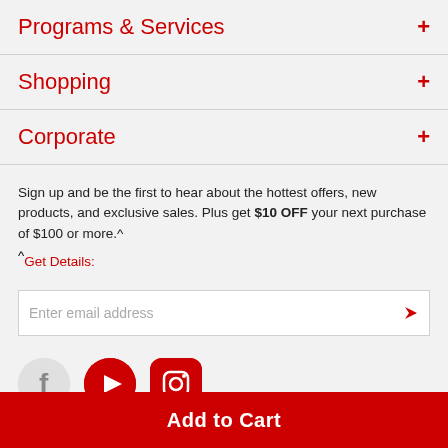Programs & Services
Shopping
Corporate
Sign up and be the first to hear about the hottest offers, new products, and exclusive sales. Plus get $10 OFF your next purchase of $100 or more.^
^Get Details:
Enter email address
[Figure (illustration): Social media icons: Facebook (f), YouTube (play button), Instagram (camera/circle)]
Add to Cart